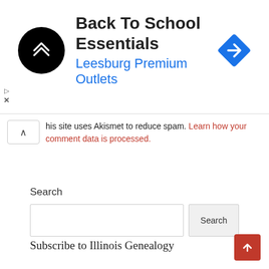[Figure (logo): Back To School Essentials ad banner for Leesburg Premium Outlets with circular black logo and blue navigation diamond icon]
This site uses Akismet to reduce spam. Learn how your comment data is processed.
Search
[Figure (screenshot): Search input field and Search button]
Subscribe to Illinois Genealogy